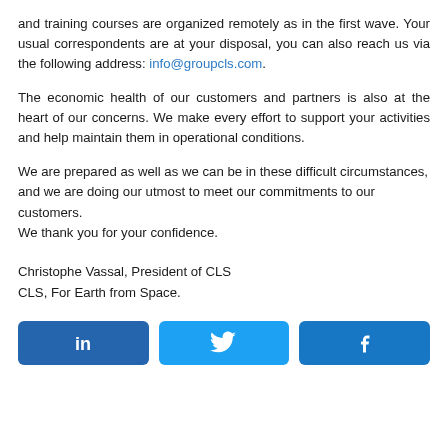and training courses are organized remotely as in the first wave. Your usual correspondents are at your disposal, you can also reach us via the following address: info@groupcls.com.
The economic health of our customers and partners is also at the heart of our concerns. We make every effort to support your activities and help maintain them in operational conditions.
We are prepared as well as we can be in these difficult circumstances, and we are doing our utmost to meet our commitments to our customers.
We thank you for your confidence.
Christophe Vassal, President of CLS
CLS, For Earth from Space.
[Figure (infographic): Three social media buttons: LinkedIn (dark blue, in icon), Twitter (light blue, bird icon), Facebook (blue, f icon)]